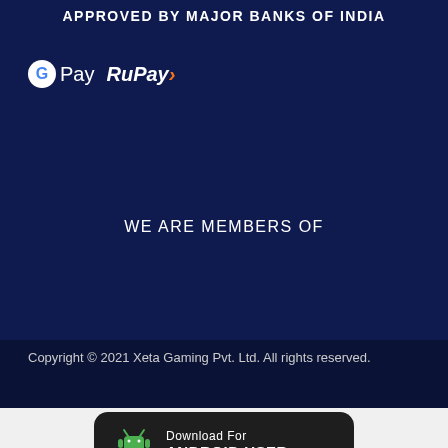APPROVED BY MAJOR BANKS OF INDIA
[Figure (logo): G Pay and RuPay logos on dark navy background]
WE ARE MEMBERS OF
Copyright © 2021 Xeta Gaming Pvt. Ltd. All rights reserved.
[Figure (illustration): Download For Android User button with green Android robot icon on dark background]